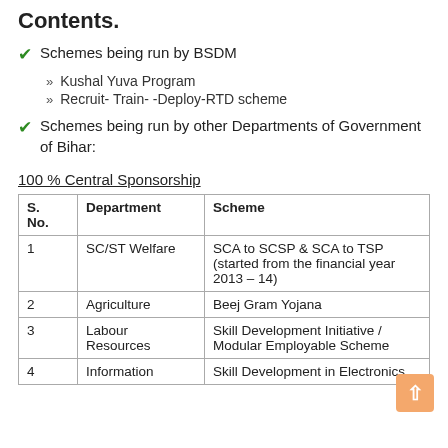Contents
Schemes being run by BSDM
Kushal Yuva Program
Recruit- Train- -Deploy-RTD scheme
Schemes being run by other Departments of Government of Bihar:
100 % Central Sponsorship
| S. No. | Department | Scheme |
| --- | --- | --- |
| 1 | SC/ST Welfare | SCA to SCSP & SCA to TSP (started from the financial year 2013 – 14) |
| 2 | Agriculture | Beej Gram Yojana |
| 3 | Labour Resources | Skill Development Initiative / Modular Employable Scheme |
| 4 | Information | Skill Development in Electronics |